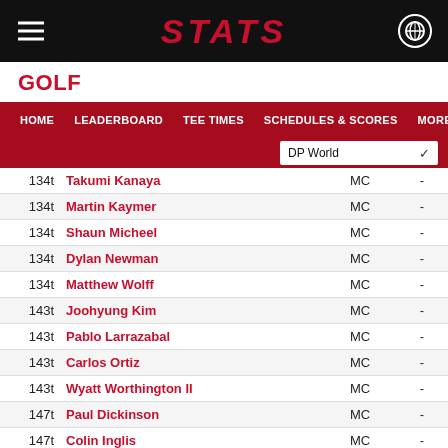STATS
GOLF
|  | HOME | LEADERBOARD | TEE TIMES | SCHEDULES & SCORES | MORE... |
| --- | --- | --- | --- | --- | --- |
| 134t | Takumi Kanaya |  |  | MC | - |
| 134t | Martin Kaymer |  |  | MC | - |
| 134t | Shaun Micheel |  |  | MC | - |
| 134t | Dylan Newman |  |  | MC | - |
| 134t | Matthew Wolff |  |  | MC | - |
| 143t | Joohyung Kim |  |  | MC | - |
| 143t | Pablo Larrazabal |  |  | MC | - |
| 143t | Carlos Ortiz |  |  | MC | - |
| 143t | Wyatt Worthington II |  |  | MC | - |
| 147t | Paul Dickinson |  |  | MC | - |
| 147t | Colin Inglis |  |  | MC | - |
| 149t | Jared Jones |  |  | MC | - |